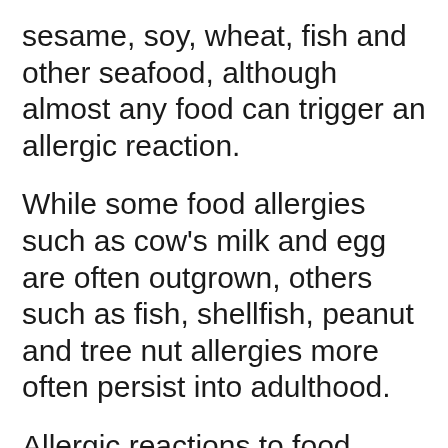sesame, soy, wheat, fish and other seafood, although almost any food can trigger an allergic reaction.
While some food allergies such as cow's milk and egg are often outgrown, others such as fish, shellfish, peanut and tree nut allergies more often persist into adulthood.
Allergic reactions to food range in severity from mild to severe. While mild to moderate symptoms include swelling of face, lips and/or eyes, hives or welts on the skin, stomach (abdominal) pain and vomiting, severe allergic reactions (anaphylaxis) affect breathing and the heart, and can be life-threatening. Sensitivity to allergens varies, but for some people, exposure to even trace